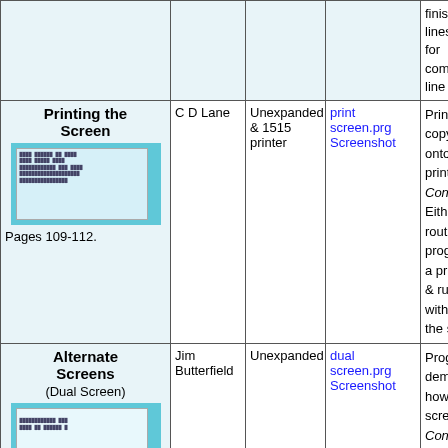| Title/Image | Author | Hardware | Download | Description |
| --- | --- | --- | --- | --- |
|  |  |  |  | finish
lines
for
comm
line r |
| Printing the Screen
Pages 109-112. | C D Lane | Unexpanded & 1515 printer | print screen.prg
Screenshot | Print copy onto printe Cont Eithe routi prog a pro & run with the s |
| Alternate Screens
(Dual Screen)
Pages 115-118. | Jim Butterfield | Unexpanded | dual screen.prg
Screenshot | Prog demo how scree Cont Type the s rite |